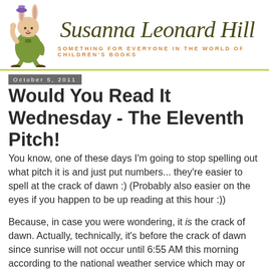[Figure (logo): Susanna Leonard Hill blog header with illustrated bunny character on left, cursive title 'Susanna Leonard Hill' in dark olive/brown, subtitle 'SOMETHING FOR EVERYONE IN THE WORLD OF CHILDREN'S BOOKS' in orange, separated from content by yellow-green wavy border]
October 5, 2011
Would You Read It Wednesday - The Eleventh Pitch!
You know, one of these days I'm going to stop spelling out what pitch it is and just put numbers... they're easier to spell at the crack of dawn :)  (Probably also easier on the eyes if you happen to be up reading at this hour :))
Because, in case you were wondering, it is the crack of dawn.  Actually, technically, it's before the crack of dawn since sunrise will not occur until 6:55 AM this morning according to the national weather service which may or may not have anything to do with reality.  But in either case, it's dark and it's early and the coffee is still brewing so read on...